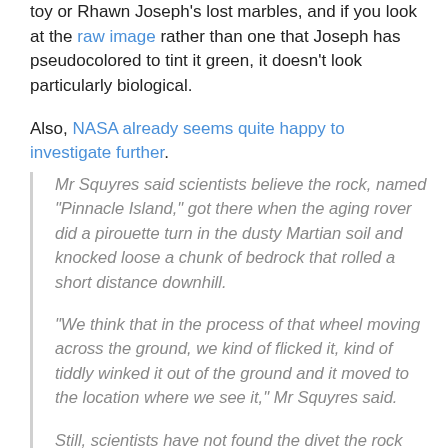toy or Rhawn Joseph's lost marbles, and if you look at the raw image rather than one that Joseph has pseudocolored to tint it green, it doesn't look particularly biological.
Also, NASA already seems quite happy to investigate further.
Mr Squyres said scientists believe the rock, named "Pinnacle Island," got there when the aging rover did a pirouette turn in the dusty Martian soil and knocked loose a chunk of bedrock that rolled a short distance downhill.
"We think that in the process of that wheel moving across the ground, we kind of flicked it, kind of tiddly winked it out of the ground and it moved to the location where we see it," Mr Squyres said.
Still, scientists have not found the divet the rock would have left behind. They think it is hidden beneath one of the rover's solar arrays.